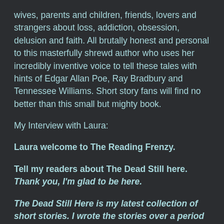wives, parents and children, friends, lovers and strangers about loss, addiction, obsession, delusion and faith. All brutally honest and personal to this masterfully shrewd author who uses her incredibly inventive voice to tell these tales with hints of Edgar Allan Poe, Ray Bradbury and Tennessee Williams. Short story fans will find no better than this small but mighty book.
My Interview with Laura:
Laura welcome to The Reading Frenzy.
Tell my readers about The Dead Still here.
Thank you, I'm glad to be here.
The Dead Still Here is my latest collection of short stories. I wrote the stories over a period of several